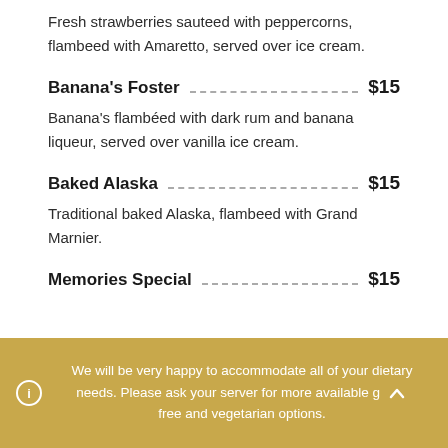Fresh strawberries sauteed with peppercorns, flambeed with Amaretto, served over ice cream.
Banana's Foster  $15
Banana's flambéed with dark rum and banana liqueur, served over vanilla ice cream.
Baked Alaska  $15
Traditional baked Alaska, flambeed with Grand Marnier.
Memories Special  $15
We will be very happy to accommodate all of your dietary needs. Please ask your server for more available g free and vegetarian options.